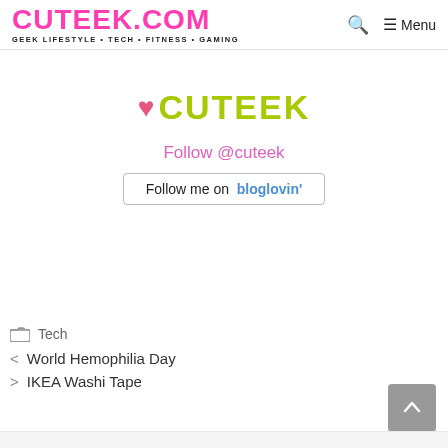CUTEEK.COM — GEEK LIFESTYLE • TECH • FITNESS • GAMING  [Search] [Menu]
[Figure (logo): Heart icon followed by CUTEEK brand name in yellow-green on white background]
Follow @cuteek
[Figure (other): Follow me on bloglovin' button with border]
Tech
< World Hemophilia Day
> IKEA Washi Tape